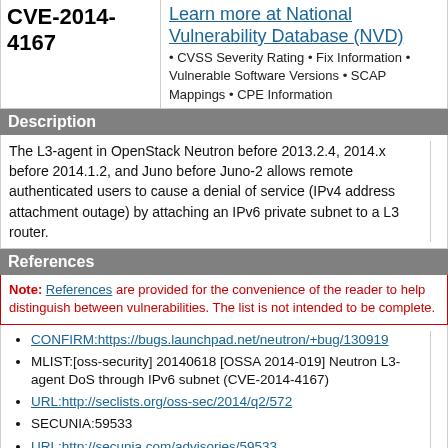CVE-2014-4167
Learn more at National Vulnerability Database (NVD) • CVSS Severity Rating • Fix Information • Vulnerable Software Versions • SCAP Mappings • CPE Information
Description
The L3-agent in OpenStack Neutron before 2013.2.4, 2014.x before 2014.1.2, and Juno before Juno-2 allows remote authenticated users to cause a denial of service (IPv4 address attachment outage) by attaching an IPv6 private subnet to a L3 router.
References
Note: References are provided for the convenience of the reader to help distinguish between vulnerabilities. The list is not intended to be complete.
CONFIRM:https://bugs.launchpad.net/neutron/+bug/130919...
MLIST:[oss-security] 20140618 [OSSA 2014-019] Neutron L3-agent DoS through IPv6 subnet (CVE-2014-4167)
URL:http://seclists.org/oss-sec/2014/q2/572
SECUNIA:59533
URL:http://secunia.com/advisories/59533
UBUNTU:USN-2255-1
URL:http://www.ubuntu.com/usn/USN-2255-1